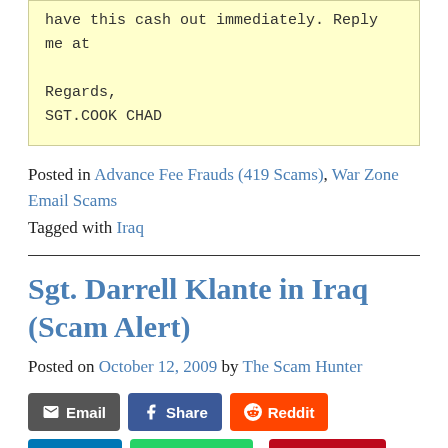have this cash out immediately. Reply me at

Regards,
SGT.COOK CHAD
Posted in Advance Fee Frauds (419 Scams), War Zone Email Scams
Tagged with Iraq
Sgt. Darrell Klante in Iraq (Scam Alert)
Posted on October 12, 2009 by The Scam Hunter
Email Share Reddit Share Whatsapp Pinterest